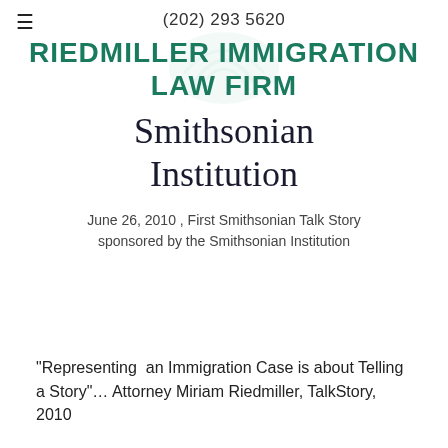(202) 293 5620
RIEDMILLER IMMIGRATION LAW FIRM
Smithsonian Institution
June 26, 2010 , First Smithsonian Talk Story sponsored by the Smithsonian Institution
"Representing  an Immigration Case is about Telling a Story"… Attorney Miriam Riedmiller, TalkStory, 2010